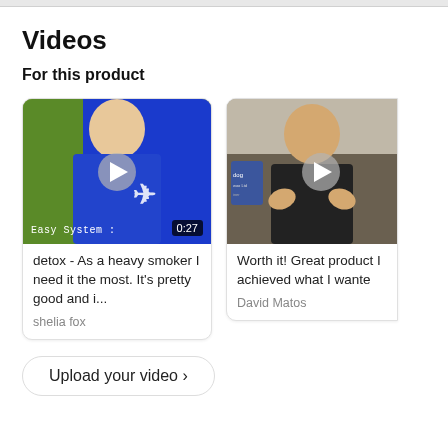Videos
For this product
[Figure (screenshot): Video thumbnail showing a man in a blue Gymshark shirt with a play button overlay and duration badge '0:27', text overlay 'Easy System :']
detox - As a heavy smoker I need it the most. It's pretty good and i...
shelia fox
[Figure (screenshot): Partially visible video thumbnail showing a man in a black shirt with a play button overlay]
Worth it! Great product I achieved what I wante
David Matos
Upload your video  >